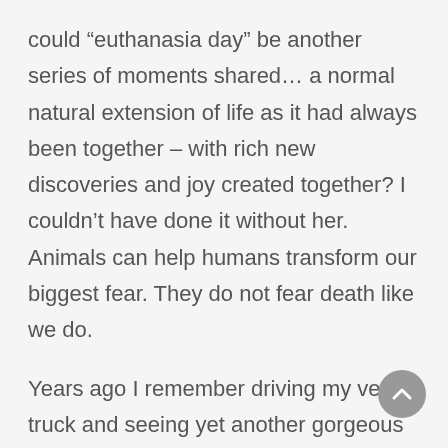could “euthanasia day” be another series of moments shared… a normal natural extension of life as it had always been together – with rich new discoveries and joy created together? I couldn’t have done it without her. Animals can help humans transform our biggest fear. They do not fear death like we do.

Years ago I remember driving my vet truck and seeing yet another gorgeous black squirrel with tufted ears lifeless in the middle of the road. It
[Figure (other): A circular grey scroll-to-top button with an upward-pointing chevron arrow icon, positioned in the lower right of the page.]